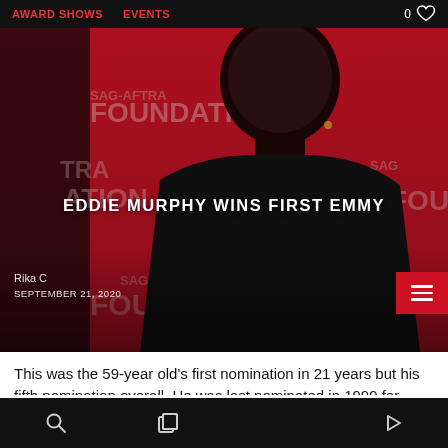AWARD SHOWS   EVENTS
[Figure (photo): Eddie Murphy smiling in front of a SAG-AFTRA Foundation red step-and-repeat banner, wearing a dark t-shirt]
EDDIE MURPHY WINS FIRST EMMY
Rika C
SEPTEMBER 21, 2020
This was the 59-year old’s first nomination in 21 years but his fifth nomination overall. He was last nominated in 1999 for outstanding animated program (for programming one hour or less) for